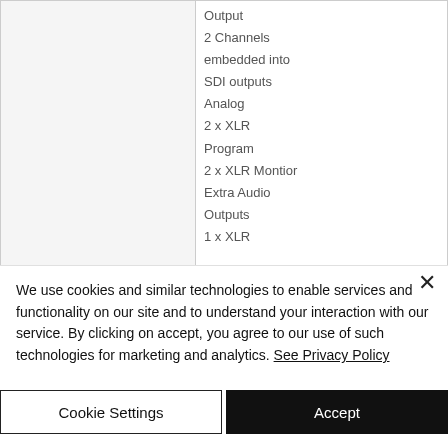|  | Output |
|  | 2 Channels |
|  | embedded into |
|  | SDI outputs |
|  | Analog |
|  | 2 x XLR |
|  | Program |
|  | 2 x XLR Montior |
|  | Extra Audio |
|  | Outputs |
|  | 1 x XLR |
We use cookies and similar technologies to enable services and functionality on our site and to understand your interaction with our service. By clicking on accept, you agree to our use of such technologies for marketing and analytics. See Privacy Policy
Cookie Settings
Accept